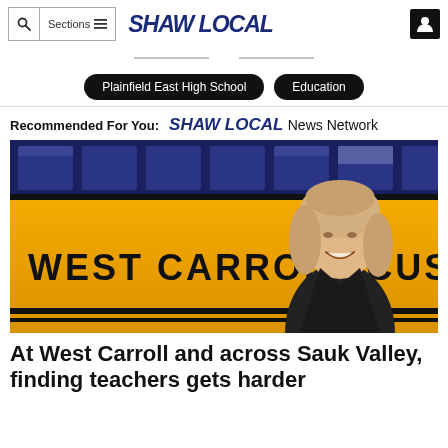Q  Sections≡  SHAW LOCAL
Plainfield East High School
Education
Recommended For You:  SHAW LOCAL News Network
[Figure (photo): Woman smiling standing in front of a yellow West Carroll CUSD school bus]
At West Carroll and across Sauk Valley, finding teachers gets harder